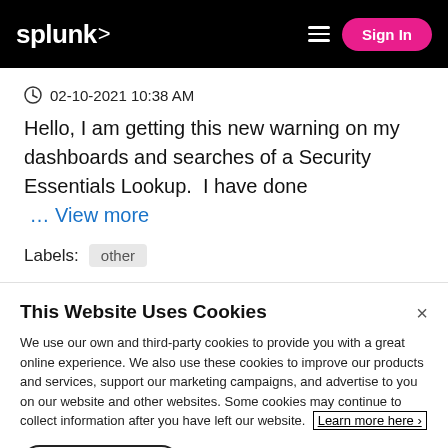splunk> Sign In
02-10-2021 10:38 AM
Hello, I am getting this new warning on my dashboards and searches of a Security Essentials Lookup. I have done ... View more
Labels: other
This Website Uses Cookies
We use our own and third-party cookies to provide you with a great online experience. We also use these cookies to improve our products and services, support our marketing campaigns, and advertise to you on our website and other websites. Some cookies may continue to collect information after you have left our website. Learn more here ›
Accept Cookies   Cookies Settings ›